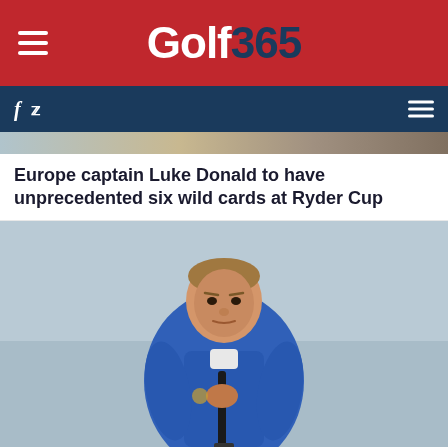Golf365
Europe captain Luke Donald to have unprecedented six wild cards at Ryder Cup
[Figure (photo): Photo of Luke Donald in blue Ryder Cup European team jacket, leaning over a golf club, looking focused]
New Ryder Cup captain Luke Donald motivated